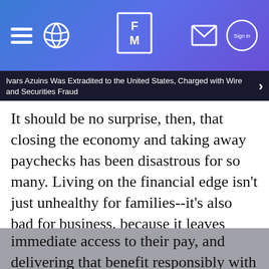FM — Financial publication header with navigation icons
Ivars Azuins Was Extradited to the United States, Charged with Wire and Securities Fraud
It should be no surprise, then, that closing the economy and taking away paychecks has been disastrous for so many. Living on the financial edge isn't just unhealthy for families--it's also bad for business, because it leaves people searching for a new employer that might lead to a better life. The good news is that forward-thinking employers are starting to do their part to help, by empowering their employees with immediate access to their pay, and delivering that benefit responsibly with the